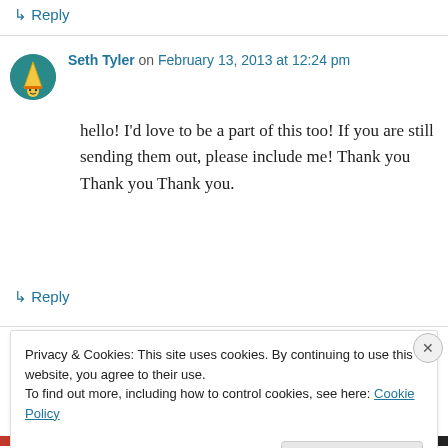↳ Reply
Seth Tyler on February 13, 2013 at 12:24 pm
hello! I'd love to be a part of this too! If you are still sending them out, please include me! Thank you Thank you Thank you.
↳ Reply
Privacy & Cookies: This site uses cookies. By continuing to use this website, you agree to their use.
To find out more, including how to control cookies, see here: Cookie Policy
Close and accept